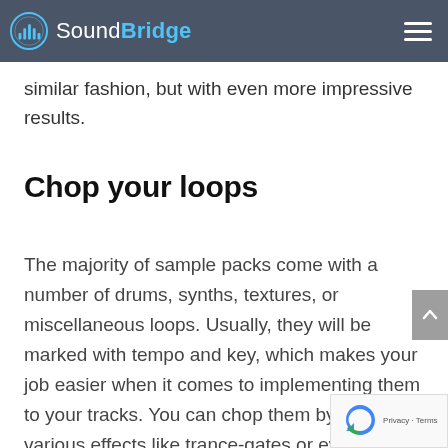SoundBridge
similar fashion, but with even more impressive results.
Chop your loops
The majority of sample packs come with a number of drums, synths, textures, or miscellaneous loops. Usually, they will be marked with tempo and key, which makes your job easier when it comes to implementing them to your tracks. You can chop them by using various effects like trance-gates or ev manually by slicing. Once you do that, try to